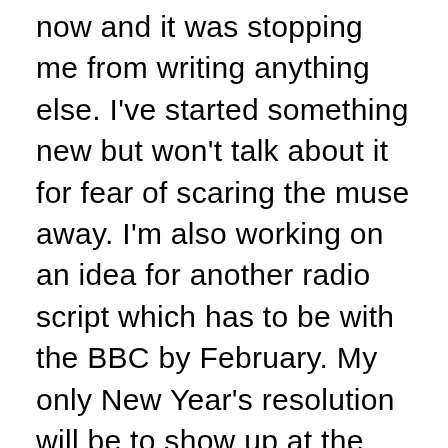now and it was stopping me from writing anything else. I've started something new but won't talk about it for fear of scaring the muse away. I'm also working on an idea for another radio script which has to be with the BBC by February. My only New Year's resolution will be to show up at the page, i.e. sit down and write every day no matter what. That way my diaries might be a bit uneventful but when I've finally written another book I'll be a happy woman.